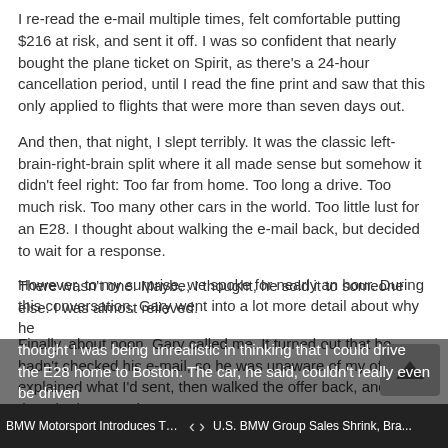I re-read the e-mail multiple times, felt comfortable putting $216 at risk, and sent it off. I was so confident that nearly bought the plane ticket on Spirit, as there's a 24-hour cancellation period, until I read the fine print and saw that this only applied to flights that were more than seven days out.
And then, that night, I slept terribly. It was the classic left-brain-right-brain split where it all made sense but somehow it didn't feel right: Too far from home. Too long a drive. Too much risk. Too many other cars in the world. Too little lust for an E28. I thought about walking the e-mail back, but decided to wait for a response.
There wasn't one. Maybe, I thought, he sold it to someone else. I was almost relieved.
Finally, about noon, Gary called me. It turned out that he hadn't checked his e-mail, so he was unaware of my offer. I explained what I'd sent, then walked the offer back, and thought that was that.
However, to my surprise, we spoke for nearly an hour. During this conversation, Gary went into a lot more detail about why he thought I was being unrealistic in thinking that I could drive the E28 home to Boston. The car, he said, couldn't really even be driven
BMW Motorsport Introduces The M... < > U.S. BMW Group Sales Shrink, Bra...